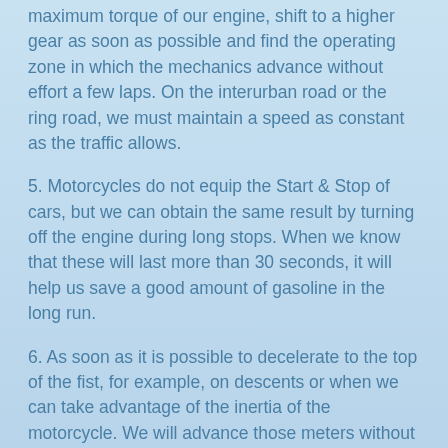maximum torque of our engine, shift to a higher gear as soon as possible and find the operating zone in which the mechanics advance without effort a few laps. On the interurban road or the ring road, we must maintain a speed as constant as the traffic allows.
5. Motorcycles do not equip the Start & Stop of cars, but we can obtain the same result by turning off the engine during long stops. When we know that these will last more than 30 seconds, it will help us save a good amount of gasoline in the long run.
6. As soon as it is possible to decelerate to the top of the fist, for example, on descents or when we can take advantage of the inertia of the motorcycle. We will advance those meters without consuming fuel. It is useless to let the bike go in neutral, it is dangerous and the little that we save on fuel we will pay more than for a greater wear on the brakes.
7. Having the motorcycle mechanics ready will guarantee us to reduce its consumption of the order of 30%. Spark plugs in good condition, a clean air filter or